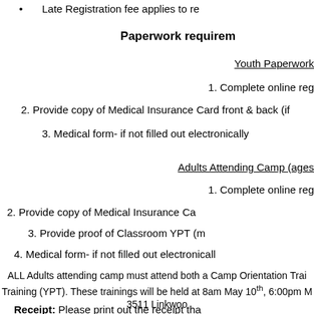Late Registration fee applies to re…
Paperwork requirem…
Youth Paperwork
1. Complete online reg…
2. Provide copy of Medical Insurance Card front & back (if…
3. Medical form- if not filled out electronically…
Adults Attending Camp (ages…
1. Complete online reg…
2.  Provide copy of Medical Insurance Ca…
3.  Provide proof of Classroom YPT (m…
4. Medical form- if not filled out electronicall…
ALL Adults attending camp must attend both a Camp Orientation Trai… Training (YPT).  These trainings will be held at 8am May 10th, 6:00pm M… 3511 Linkwoo…
Receipt:  Please print out the receipt tha…